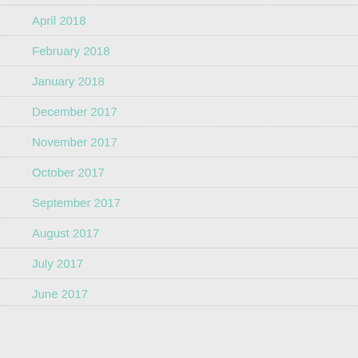April 2018
February 2018
January 2018
December 2017
November 2017
October 2017
September 2017
August 2017
July 2017
June 2017